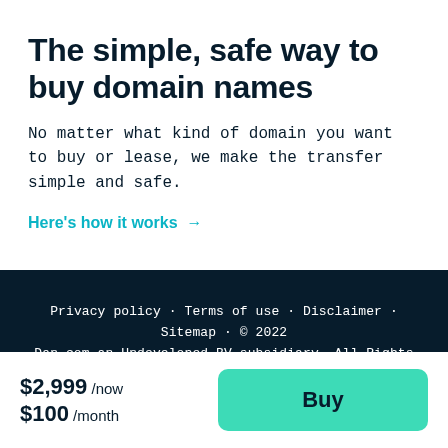The simple, safe way to buy domain names
No matter what kind of domain you want to buy or lease, we make the transfer simple and safe.
Here's how it works →
Privacy policy · Terms of use · Disclaimer · Sitemap · © 2022 Dan.com an Undeveloped BV subsidiary. All Rights Reserved.
$2,999 /now $100 /month
Buy